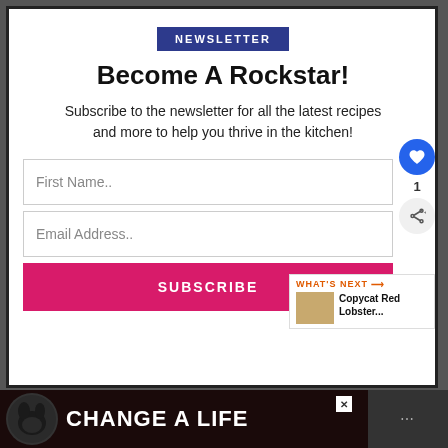NEWSLETTER
Become A Rockstar!
Subscribe to the newsletter for all the latest recipes and more to help you thrive in the kitchen!
First Name..
Email Address..
SUBSCRIBE
1
WHAT'S NEXT → Copycat Red Lobster...
CHANGE A LIFE